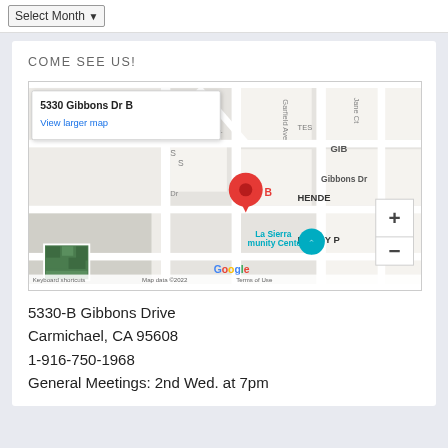Select Month
COME SEE US!
[Figure (map): Google Map showing 5330 Gibbons Dr B location in Carmichael, CA area. Popup label shows '5330 Gibbons Dr B' with 'View larger map' link. Red pin marker visible with letter B. Shows La Sierra Community Center, Gibbons Dr, Garfield Ave, Lynus Way, Jane Ct. Google logo and map attribution visible at bottom.]
5330-B Gibbons Drive
Carmichael, CA 95608
1-916-750-1968
General Meetings: 2nd Wed. at 7pm